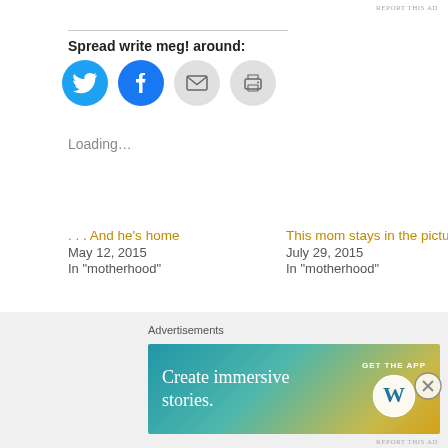REPORT THIS AD
Spread write meg! around:
[Figure (infographic): Four social sharing icon buttons: Twitter (blue bird), Facebook (blue f), Email (grey envelope), Print (grey printer)]
Loading...
... And he's home
May 12, 2015
In "motherhood"
This mom stays in the picture
July 29, 2015
In "motherhood"
Like a sack of baby potatoes
January 11, 2016
In "motherhood"
Advertisements
[Figure (infographic): WordPress advertisement banner with gradient background (teal to gold). Text reads 'Create immersive stories.' with 'GET THE APP' and WordPress logo.]